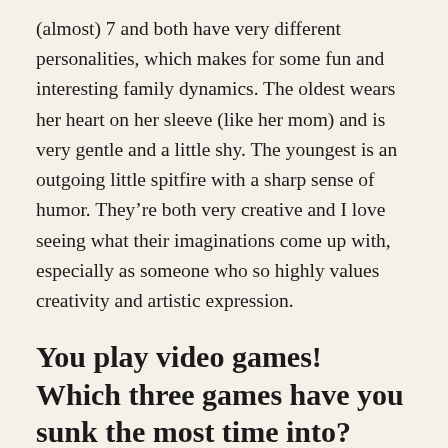(almost) 7 and both have very different personalities, which makes for some fun and interesting family dynamics. The oldest wears her heart on her sleeve (like her mom) and is very gentle and a little shy. The youngest is an outgoing little spitfire with a sharp sense of humor. They're both very creative and I love seeing what their imaginations come up with, especially as someone who so highly values creativity and artistic expression.
You play video games! Which three games have you sunk the most time into?
I love a good story no matter what format it's